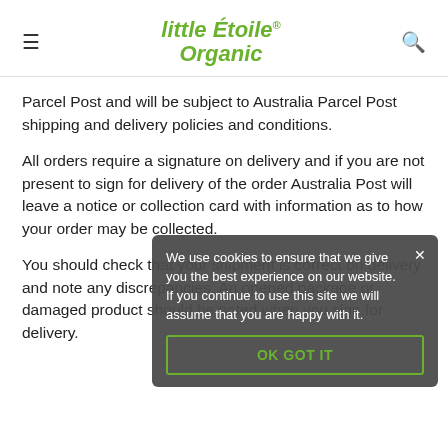little Étoile® Organic
Parcel Post and will be subject to Australia Parcel Post shipping and delivery policies and conditions.
All orders require a signature on delivery and if you are not present to sign for delivery of the order Australia Post will leave a notice or collection card with information as to how your order may be collected.
You should check that your shipment is correct on delivery and note any discrepancies. An opened package or damaged product should be noted when you sign for delivery.
We use cookies to ensure that we give you the best experience on our website. If you continue to use this site we will assume that you are happy with it.
OK GOT IT